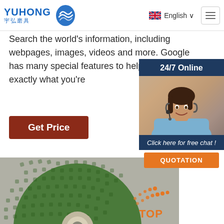[Figure (logo): Yuhong logo with blue text 'YUHONG' and Chinese characters '宇弘磨具', with a blue circular wave icon]
English
Search the world's information, including webpages, images, videos and more. Google has many special features to help you find exactly what you're
[Figure (infographic): 24/7 Online customer service panel with agent photo, 'Click here for free chat!' text, and QUOTATION button]
Get Price
[Figure (photo): Close-up photo of a green grinding/polishing disc with diamond pattern texture and metal center hole, on gray background. TOP badge in bottom right corner.]